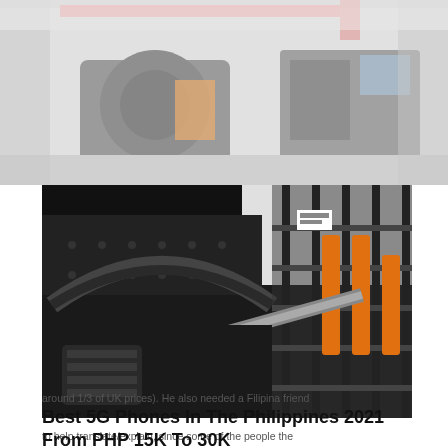[Figure (photo): Industrial factory/warehouse interior showing large heavy machinery, cranes and equipment in a workshop setting. Image is partially faded/washed out at edges.]
[Figure (photo): Close-up top-down view of large industrial machinery components, showing black metal plates with bolt holes, orange/yellow pipes or structural members, and mechanical parts inside what appears to be a factory.]
around 1/3 of UK prices). He also needed a Filipina friend
Best 5G Phones In The Philippines 2021 From PHP 15K To 30K
to help translate/explain, since some of the people the